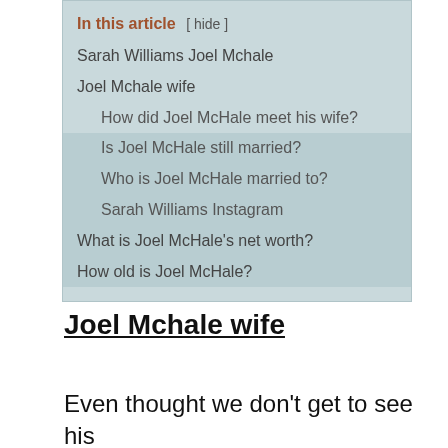In this article [ hide ]
Sarah Williams Joel Mchale
Joel Mchale wife
How did Joel McHale meet his wife?
Is Joel McHale still married?
Who is Joel McHale married to?
Sarah Williams Instagram
What is Joel McHale's net worth?
How old is Joel McHale?
Joel Mchale wife
Even thought we don't get to see his serious side often, Sarah Williams Joel